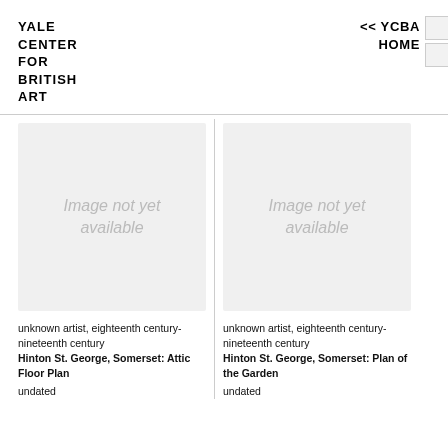YALE CENTER FOR BRITISH ART
<< YCBA HOME
[Figure (other): Image not yet available placeholder for artwork 1]
unknown artist, eighteenth century-nineteenth century
Hinton St. George, Somerset: Attic Floor Plan
undated
[Figure (other): Image not yet available placeholder for artwork 2]
unknown artist, eighteenth century-nineteenth century
Hinton St. George, Somerset: Plan of the Garden
undated